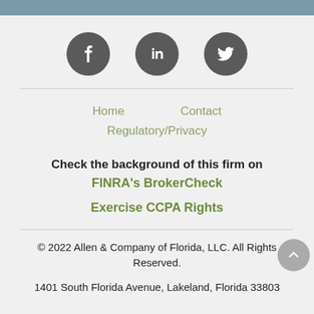[Figure (other): Social media icons row: Facebook, LinkedIn, Twitter — dark grey circles with white icons]
Home        Contact
Regulatory/Privacy
Check the background of this firm on
FINRA's BrokerCheck
Exercise CCPA Rights
© 2022 Allen & Company of Florida, LLC. All Rights Reserved.
1401 South Florida Avenue, Lakeland, Florida 33803